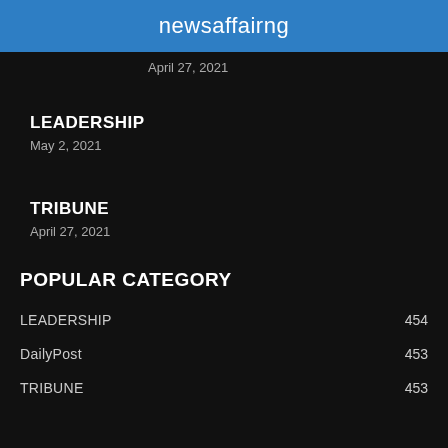newsaffairng
April 27, 2021
LEADERSHIP
May 2, 2021
TRIBUNE
April 27, 2021
POPULAR CATEGORY
LEADERSHIP 454
DailyPost 453
TRIBUNE 453